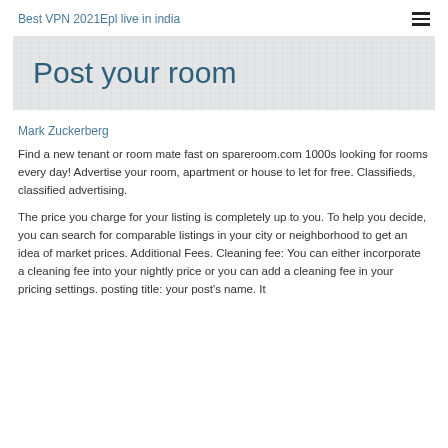Best VPN 2021Epl live in india
Post your room
Mark Zuckerberg
Find a new tenant or room mate fast on spareroom.com 1000s looking for rooms every day! Advertise your room, apartment or house to let for free. Classifieds, classified advertising.
The price you charge for your listing is completely up to you. To help you decide, you can search for comparable listings in your city or neighborhood to get an idea of market prices. Additional Fees. Cleaning fee: You can either incorporate a cleaning fee into your nightly price or you can add a cleaning fee in your pricing settings. posting title: your post's name. It